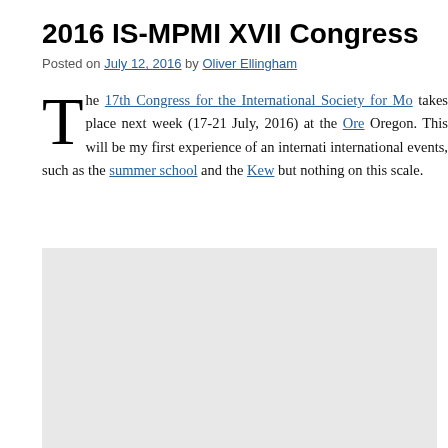2016 IS-MPMI XVII Congress
Posted on July 12, 2016 by Oliver Ellingham
The 17th Congress for the International Society for Mo takes place next week (17-21 July, 2016) at the Ore Oregon. This will be my first experience of an internati international events, such as the summer school and the Kew but nothing on this scale.
[Figure (photo): Gray placeholder image block]